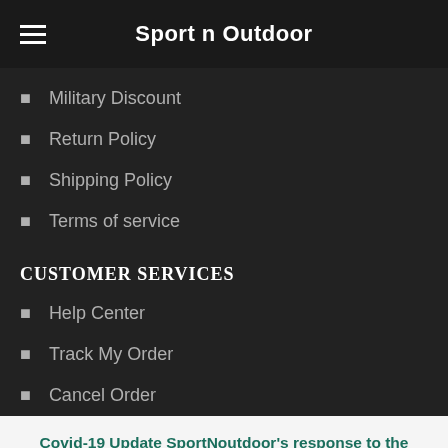Sport n Outdoor
Military Discount
Return Policy
Shipping Policy
Terms of service
CUSTOMER SERVICES
Help Center
Track My Order
Cancel Order
Covid-19 Update SportNoutdoor's response to the COVID-19 pandemic. Read More